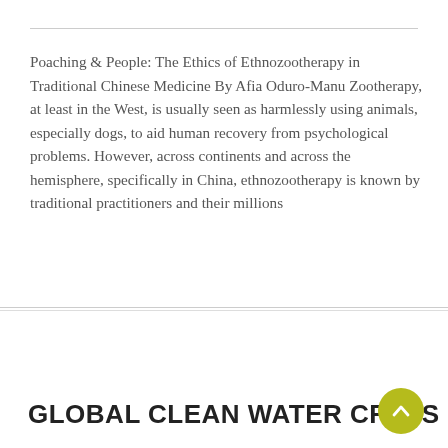Poaching & People: The Ethics of Ethnozootherapy in Traditional Chinese Medicine By Afia Oduro-Manu Zootherapy, at least in the West, is usually seen as harmlessly using animals, especially dogs, to aid human recovery from psychological problems. However, across continents and across the hemisphere, specifically in China, ethnozootherapy is known by traditional practitioners and their millions
Read More
GLOBAL CLEAN WATER CRISIS